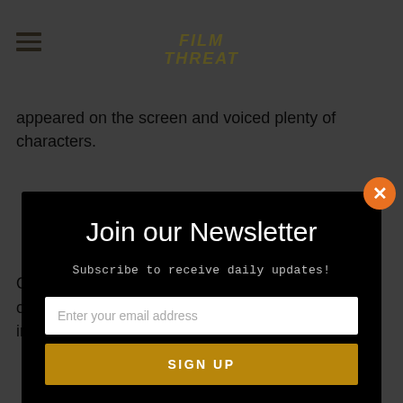Film Threat
appeared on the screen and voiced plenty of characters
Join our Newsletter
Subscribe to receive daily updates!
Enter your email address
SIGN UP
Orlando Bloom is a British film actor who was born on January 13, 1977, in Canterbury, UK. His interest in art dates back to early childhood.